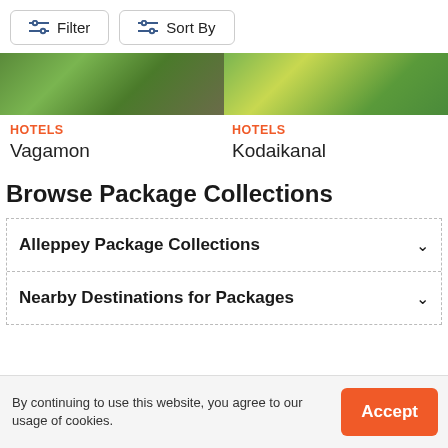Filter  Sort By
[Figure (photo): Two hotel/destination thumbnail images side by side: left shows green hillside (Vagamon), right shows yellow-green landscape (Kodaikanal)]
HOTELS
Vagamon
HOTELS
Kodaikanal
Browse Package Collections
Alleppey Package Collections
Nearby Destinations for Packages
By continuing to use this website, you agree to our usage of cookies.